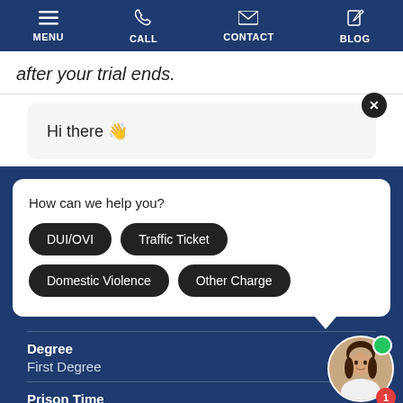MENU | CALL | CONTACT | BLOG
after your trial ends.
Hi there 👋
How can we help you?
DUI/OVI
Traffic Ticket
Domestic Violence
Other Charge
Degree
First Degree
Prison Time